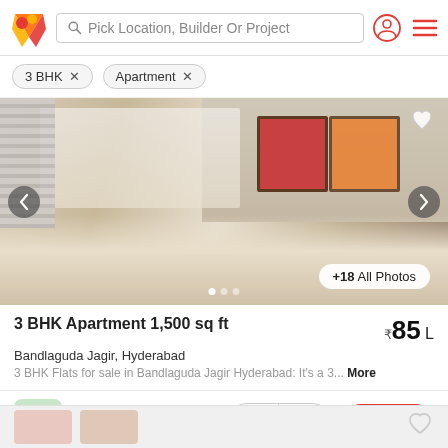Pick Location, Builder Or Project
3 BHK ×
Apartment ×
[Figure (photo): Interior photo of a furnished bedroom with white shelving, decorative items, colorful framed artwork, and a bed with striped bedding. Navigation arrows and +18 All Photos badge visible.]
3 BHK Apartment 1,500 sq ft
₹85 L
Bandlaguda Jagir, Hyderabad
3 BHK Flats for sale in Bandlaguda Jagir Hyderabad: It's a 3... More
TIrinfra — AGENT
Connect